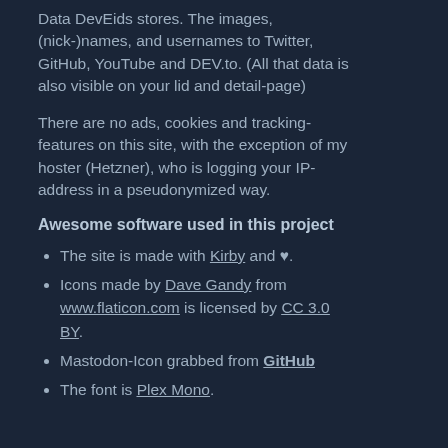Data DevEids stores. The images, (nick-)names, and usernames to Twitter, GitHub, YouTube and DEV.to. (All that data is also visible on your lid and detail-page)
There are no ads, cookies and tracking-features on this site, with the exception of my hoster (Hetzner), who is logging your IP-address in a pseudonymized way.
Awesome software used in this project
The site is made with Kirby and ♥.
Icons made by Dave Gandy from www.flaticon.com is licensed by CC 3.0 BY.
Mastodon-Icon grabbed from GitHub
The font is Plex Mono.